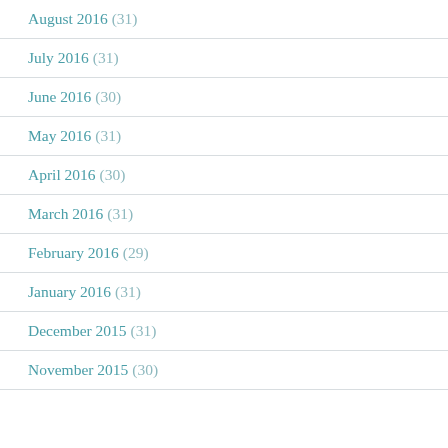August 2016 (31)
July 2016 (31)
June 2016 (30)
May 2016 (31)
April 2016 (30)
March 2016 (31)
February 2016 (29)
January 2016 (31)
December 2015 (31)
November 2015 (30)